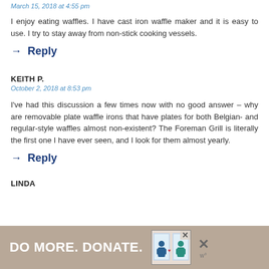March 15, 2018 at 4:55 pm
I enjoy eating waffles. I have cast iron waffle maker and it is easy to use. I try to stay away from non-stick cooking vessels.
→ Reply
KEITH P.
October 2, 2018 at 8:53 pm
I've had this discussion a few times now with no good answer – why are removable plate waffle irons that have plates for both Belgian- and regular-style waffles almost non-existent? The Foreman Grill is literally the first one I have ever seen, and I look for them almost yearly.
→ Reply
LINDA
[Figure (infographic): Advertisement banner: 'DO MORE. DONATE.' with illustration of two people and close button]